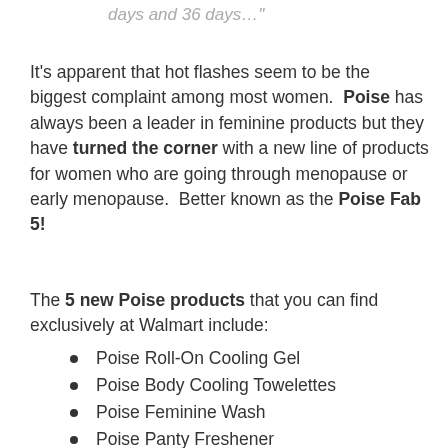days and 36 days…"
It's apparent that hot flashes seem to be the biggest complaint among most women. Poise has always been a leader in feminine products but they have turned the corner with a new line of products for women who are going through menopause or early menopause. Better known as the Poise Fab 5!
The 5 new Poise products that you can find exclusively at Walmart include:
Poise Roll-On Cooling Gel
Poise Body Cooling Towelettes
Poise Feminine Wash
Poise Panty Freshener
Poise Personal Lubricant